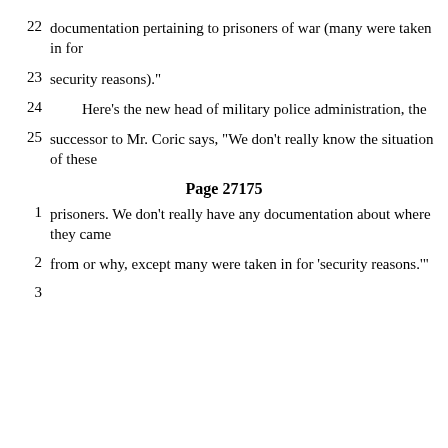22    documentation pertaining to prisoners of war (many were taken in for
23    security reasons)."
24        Here's the new head of military police administration, the
25    successor to Mr. Coric says, "We don't really know the situation of these
Page 27175
1    prisoners.  We don't really have any documentation about where they came
2    from or why, except many were taken in for 'security reasons.'"
3